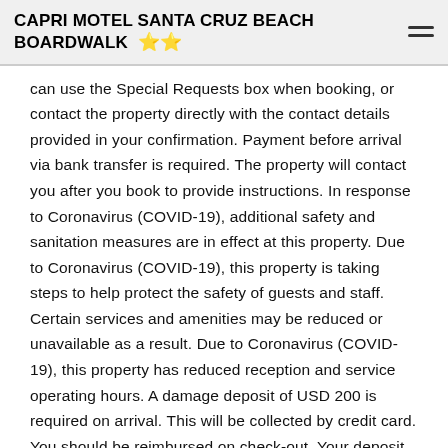CAPRI MOTEL SANTA CRUZ BEACH BOARDWALK ⭐⭐
can use the Special Requests box when booking, or contact the property directly with the contact details provided in your confirmation. Payment before arrival via bank transfer is required. The property will contact you after you book to provide instructions. In response to Coronavirus (COVID-19), additional safety and sanitation measures are in effect at this property. Due to Coronavirus (COVID-19), this property is taking steps to help protect the safety of guests and staff. Certain services and amenities may be reduced or unavailable as a result. Due to Coronavirus (COVID-19), this property has reduced reception and service operating hours. A damage deposit of USD 200 is required on arrival. This will be collected by credit card. You should be reimbursed on check-out. Your deposit will be refunded in full via credit card, subject to an inspection of the property. Please note: - 1 parking space is available per room. - If you expect to arrive